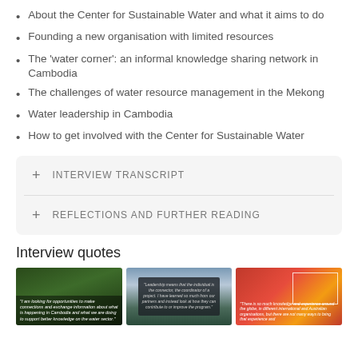About the Center for Sustainable Water and what it aims to do
Founding a new organisation with limited resources
The 'water corner': an informal knowledge sharing network in Cambodia
The challenges of water resource management in the Mekong
Water leadership in Cambodia
How to get involved with the Center for Sustainable Water
+ INTERVIEW TRANSCRIPT
+ REFLECTIONS AND FURTHER READING
Interview quotes
[Figure (photo): Three side-by-side interview quote images: left shows a nature/tree scene with a quote overlay, middle shows a sunset/water scene with a dark panel containing a quote, right shows people with a white border box overlay and quote text]